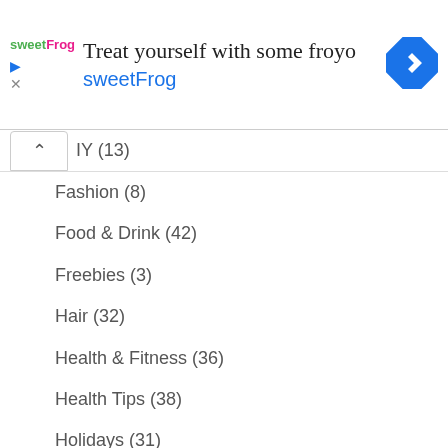[Figure (screenshot): Advertisement banner for sweetFrog frozen yogurt. Shows sweetFrog logo on left, headline 'Treat yourself with some froyo', brand name 'sweetFrog' in blue, play and close icons, and a blue diamond navigation icon on the right.]
DIY (13)
Fashion (8)
Food & Drink (42)
Freebies (3)
Hair (32)
Health & Fitness (36)
Health Tips (38)
Holidays (31)
Home Décor (3)
Homemade Beauty Recipes (11)
I'm Loving This (72)
Makeup (41)